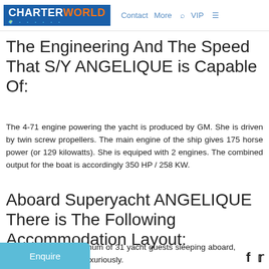CHARTERWORLD | Contact | More | VIP
The Engineering And The Speed That S/Y ANGELIQUE is Capable Of:
The 4-71 engine powering the yacht is produced by GM. She is driven by twin screw propellers. The main engine of the ship gives 175 horse power (or 129 kilowatts). She is equiped with 2 engines. The combined output for the boat is accordingly 350 HP / 258 KW.
Aboard Superyacht ANGELIQUE There is The Following Accommodation Layout:
With space for a maximum of 31 yacht guests sleeping aboard, accommodates them luxuriously.